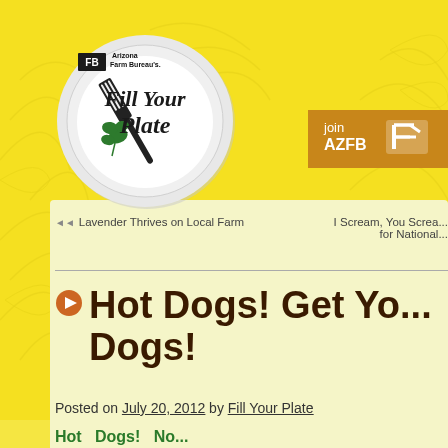[Figure (logo): Arizona Farm Bureau Fill Your Plate logo — circular plate with fork and herbs, script text 'Fill Your Plate', small FB logo top left]
[Figure (other): Join AZFB button — dark gold/brown rectangle with 'join AZFB' text and FB logo mark in white]
◄◄ Lavender Thrives on Local Farm
I Scream, You Screa... for National...
Hot Dogs! Get Yo... Dogs!
Posted on July 20, 2012 by Fill Your Plate
Hot Dogs! No...